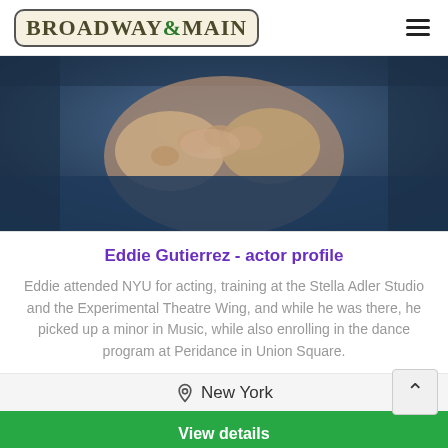BROADWAY&MAIN
[Figure (photo): Close-up photo of a person's hands clasped together, wearing a dark denim jacket, dark background]
Eddie Gutierrez - actor profile
Eddie attended NYU for acting, training at the Stella Adler Studio and the Experimental Theatre Wing, and while he was there, he picked up a minor in Music, while also enrolling in the dance program at Peridance in Union Square.
New York